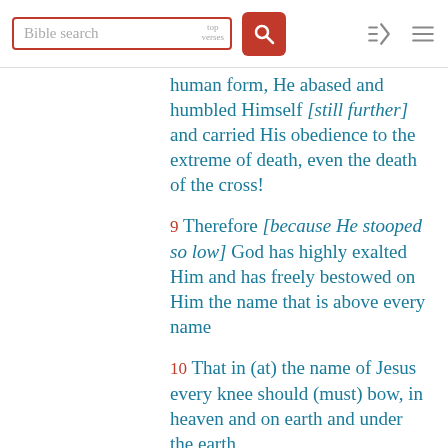Bible search | top verses
human form, He abased and humbled Himself [still further] and carried His obedience to the extreme of death, even the death of the cross!
9 Therefore [because He stooped so low] God has highly exalted Him and has freely bestowed on Him the name that is above every name
10 That in (at) the name of Jesus every knee should (must) bow, in heaven and on earth and under the earth
11 And every tongue [frankly and openly] confess and